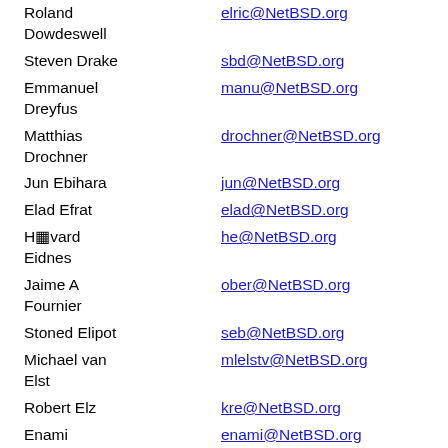| Name | Email |
| --- | --- |
| Roland Dowdeswell | elric@NetBSD.org |
| Steven Drake | sbd@NetBSD.org |
| Emmanuel Dreyfus | manu@NetBSD.org |
| Matthias Drochner | drochner@NetBSD.org |
| Jun Ebihara | jun@NetBSD.org |
| Elad Efrat | elad@NetBSD.org |
| Håvard Eidnes | he@NetBSD.org |
| Jaime A Fournier | ober@NetBSD.org |
| Stoned Elipot | seb@NetBSD.org |
| Michael van Elst | mlelstv@NetBSD.org |
| Robert Elz | kre@NetBSD.org |
| Enami Tsugutomo | enami@NetBSD.org |
| Bernd Ernesti | veego@NetBSD.org |
| Erik Fair | fair@NetBSD.org |
| Gavan ... | gavan@NetBSD.org |